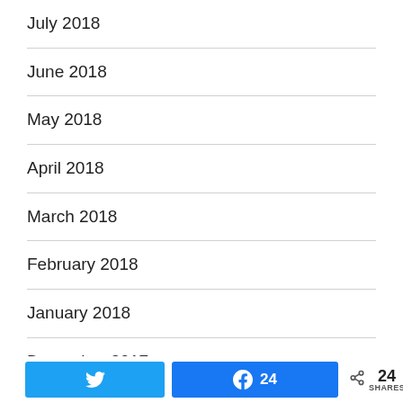July 2018
June 2018
May 2018
April 2018
March 2018
February 2018
January 2018
December 2017
November 2017
October 2017
Twitter share button, Facebook share button 24, Share 24 SHARES